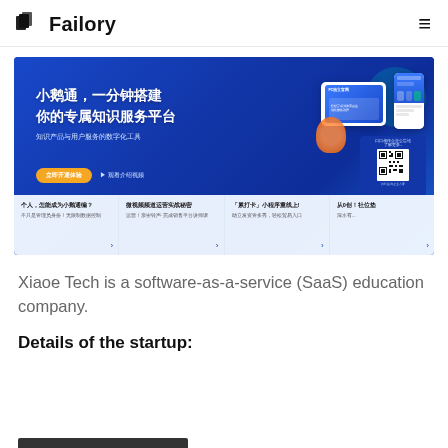Failory
[Figure (screenshot): Screenshot of Xiaoe Tech (小鹅通) website homepage showing Chinese text '小鹅通，一分钟搭建你的专属知识服务平台' (Build your exclusive knowledge service platform in one minute) with UI mockups of PC and mobile interfaces, a QR code panel, and bottom feature cards.]
Xiaoe Tech is a software-as-a-service (SaaS) education company.
Details of the startup: